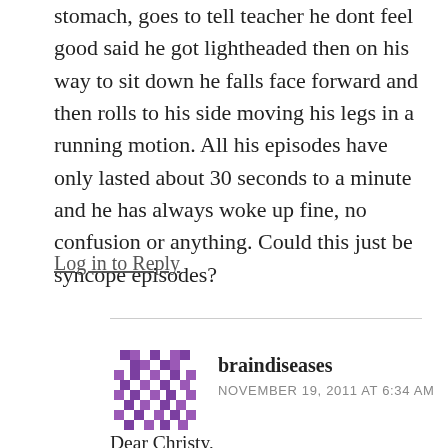stomach, goes to tell teacher he dont feel good said he got lightheaded then on his way to sit down he falls face forward and then rolls to his side moving his legs in a running motion. All his episodes have only lasted about 30 seconds to a minute and he has always woke up fine, no confusion or anything. Could this just be syncope episodes?
Log in to Reply
braindiseases
NOVEMBER 19, 2011 AT 6:34 AM
Dear Christy,
thank you for writing in to me. Your son's clinical presentation is very interesting and I do have a few thoughts that will explain a possible de...